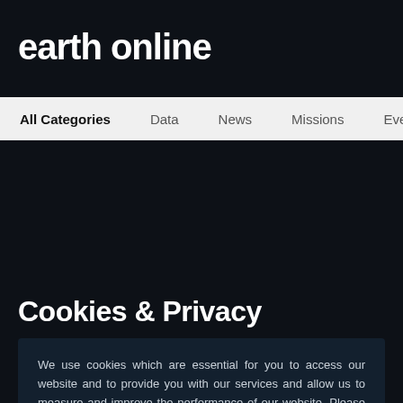earth online
All Categories  Data  News  Missions  Events  Tools
Cookies & Privacy
We use cookies which are essential for you to access our website and to provide you with our services and allow us to measure and improve the performance of our website. Please consult our Cookie Notice for further information or to change your preferences.
ACCEPT COOKIES
ACCEPT ONLY ESSENTIAL COOKIES